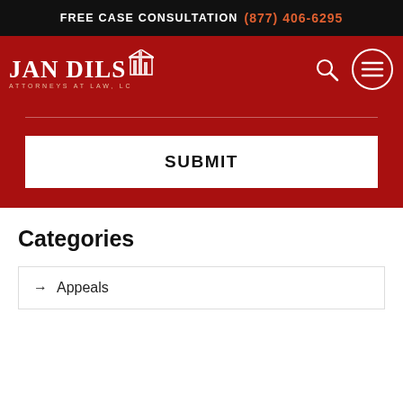FREE CASE CONSULTATION (877) 406-6295
[Figure (logo): Jan Dils Attorneys at Law, LC logo with building/books icon]
SUBMIT
Categories
→ Appeals